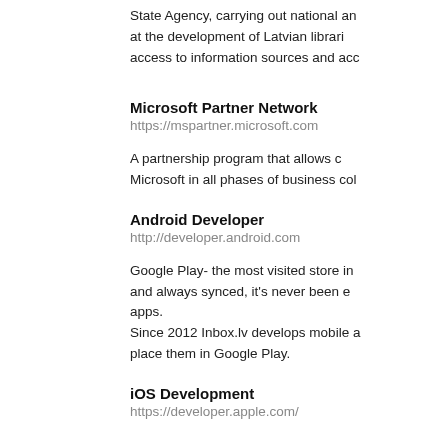State Agency, carrying out national and at the development of Latvian libraries access to information sources and access.
Microsoft Partner Network
https://mspartner.microsoft.com
A partnership program that allows companies to work with Microsoft in all phases of business collaboration.
Android Developer
http://developer.android.com
Google Play- the most visited store in the world. Organized and always synced, it's never been easier to find great apps.
Since 2012 Inbox.lv develops mobile apps and place them in Google Play.
iOS Development
https://developer.apple.com/